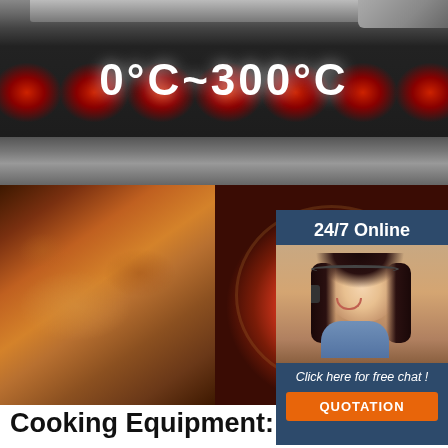[Figure (photo): Oven/grill appliance showing temperature range 0°C~300°C with red heating elements glowing, dark metallic body]
[Figure (photo): Three food images side by side: roasted chicken on left, seafood pizza in center, and a third food item on right]
[Figure (infographic): 24/7 Online customer service sidebar with a woman wearing headset, 'Click here for free chat!' text, and orange QUOTATION button]
Cooking Equipment: Commercial Kitchen Equipment & More
Main Street Equipment Natural Gas 40 lb. Stainless Steel Floor Fryer - 90,000 BTU. $849.00 /Each. ... Avantco P84 Double Commercial Panini Sandwich Grill with Grooved
[Figure (logo): TOP badge/icon in orange with dots arranged in triangle above text]